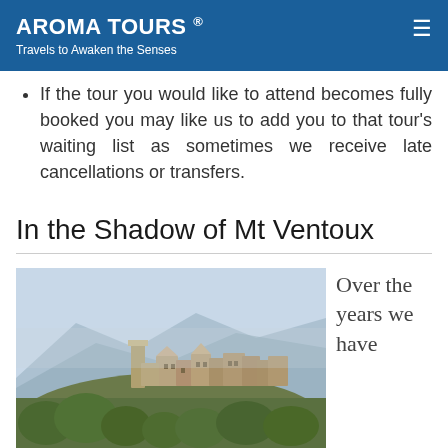AROMA TOURS ® — Travels to Awaken the Senses
If the tour you would like to attend becomes fully booked you may like us to add you to that tour's waiting list as sometimes we receive late cancellations or transfers.
In the Shadow of Mt Ventoux
[Figure (photo): A hilltop village with stone buildings on a forested hillside, with mountains in the background, likely in Provence, France near Mt Ventoux.]
Over the years we have